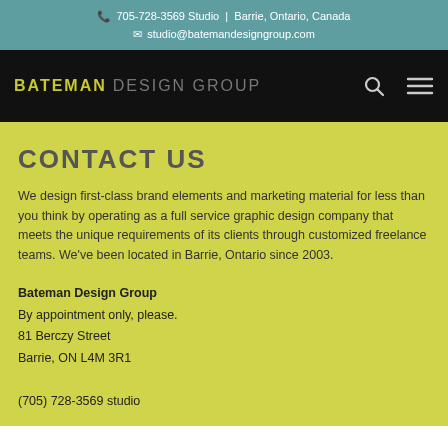705-728-3569 Studio | Barrie, Ontario, Canada
studio@batemandesigngroup.com
[Figure (logo): Bateman Design Group logo in nav bar with search and menu icons]
CONTACT US
We design first-class brand elements and marketing material for less than you think by operating as a full service graphic design company that meets the unique requirements of its clients through customized freelance teams. We've been located in Barrie, Ontario since 2003.
Bateman Design Group
By appointment only, please.
81 Berczy Street
Barrie, ON L4M 3R1

(705) 728-3569 studio